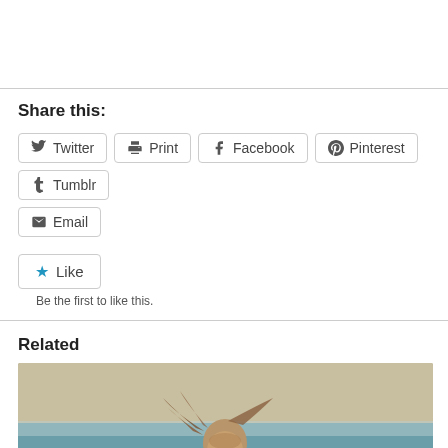Share this:
Twitter
Print
Facebook
Pinterest
Tumblr
Email
Like
Be the first to like this.
Related
[Figure (photo): A bearded man with long wind-blown hair in front of the ocean, looking upward, with a dramatic sky in the background.]